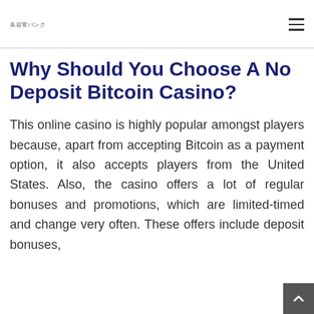美容室バンク
Why Should You Choose A No Deposit Bitcoin Casino?
This online casino is highly popular amongst players because, apart from accepting Bitcoin as a payment option, it also accepts players from the United States. Also, the casino offers a lot of regular bonuses and promotions, which are limited-timed and change very often. These offers include deposit bonuses,